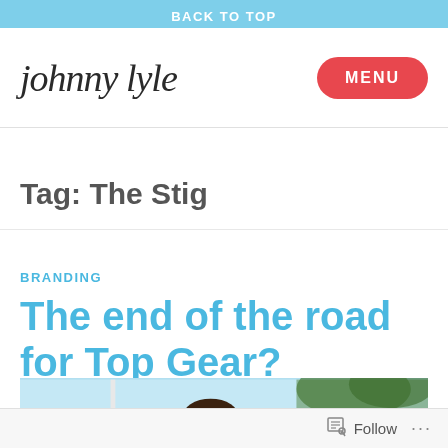BACK TO TOP
[Figure (logo): Johnny Lyle handwritten script logo with red MENU button]
Tag: The Stig
BRANDING
The end of the road for Top Gear?
[Figure (photo): Partial photo of a person outdoors with palm trees in background]
Follow ...